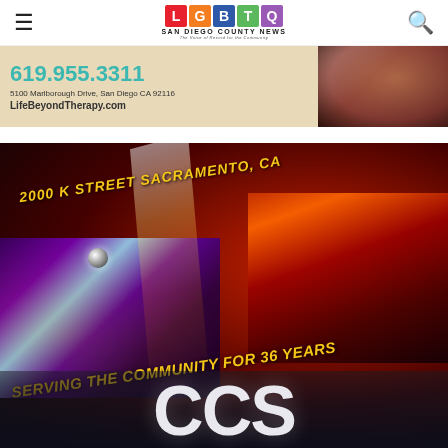LGBTQ San Diego County News
[Figure (photo): Advertisement banner with phone number 619.955.3311, address 5100 Marlborough Drive, San Diego CA 92116, website LifeBeyondTherapy.com, and a photo of a person on the right side. Beige/tan background.]
[Figure (photo): Nightclub advertisement with dark background showing nightclub crowd scenes. Text reads '2000 K STREET SACRAMENTO, CA' and 'SERVING THE COMMUNITY FOR 36 YEARS'. Bottom shows large partial letters likely spelling the club name. Yellow/gold italic text on black background.]